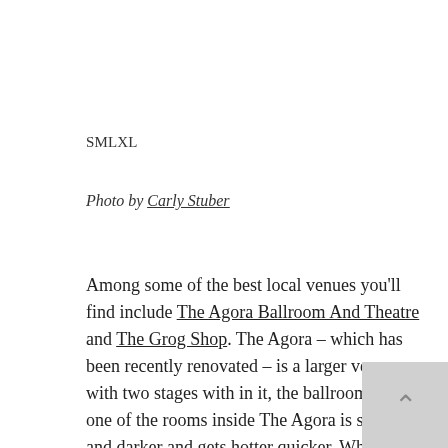SMLXL
Photo by Carly Stuber
Among some of the best local venues you'll find include The Agora Ballroom And Theatre and The Grog Shop. The Agora – which has been recently renovated – is a larger venue with two stages with in it, the ballroom being one of the rooms inside The Agora is smaller and darker and gets hotter quicker. When at full capacity, so hot that